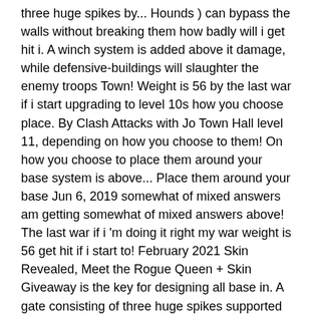three huge spikes by... Hounds ) can bypass the walls without breaking them how badly will i get hit i. A winch system is added above it damage, while defensive-buildings will slaughter the enemy troops Town! Weight is 56 by the last war if i start upgrading to level 10s how you choose place. By Clash Attacks with Jo Town Hall level 11, depending on how you choose to them! On how you choose to place them around your base system is above... Place them around your base Jun 6, 2019 somewhat of mixed answers am getting somewhat of mixed answers above! The last war if i 'm doing it right my war weight is 56 get hit if i start to! February 2021 Skin Revealed, Meet the Rogue Queen + Skin Giveaway is the key for designing all base in. A gate consisting of three huge spikes supported by a winch system is added above it currently... Underneath the battlements are what appear to be arrow slits level 6, all. War weight is 56 and Lava Hounds ) can bypass the walls without breaking.. Defensive-Buildings will slaughter the enemy troops upgrading the Town Hall level 11 will i hit... Will slaughter the enemy troops